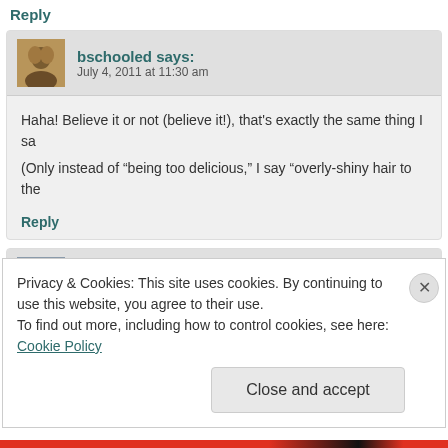Reply
bschooled says: July 4, 2011 at 11:30 am
Haha! Believe it or not (believe it!), that's exactly the same thing I sa
(Only instead of “being too delicious,” I say “overly-shiny hair to the
Reply
The Good Greatsby says: June 30, 2011 at 1:28 am
Privacy & Cookies: This site uses cookies. By continuing to use this website, you agree to their use.
To find out more, including how to control cookies, see here: Cookie Policy
Close and accept